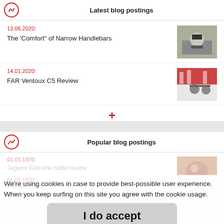Latest blog postings
13.06.2020: The 'Comfort' of Narrow Handlebars
[Figure (photo): Person riding a bicycle on a track, wearing a helmet, seen from above/front]
14.01.2020: FAR Ventoux C5 Review
[Figure (photo): Bicycle leaning against a red and white striped wall on a track]
Popular blog postings
01.01.1970: Jagwire Elite link cable review
[Figure (photo): Close up of bicycle cable/component]
We're using cookies in case to provide best-possible user experience. When you keep surfing on this site you agree with the cookie usage.
01.01.1970: Review: Elite
I do accept